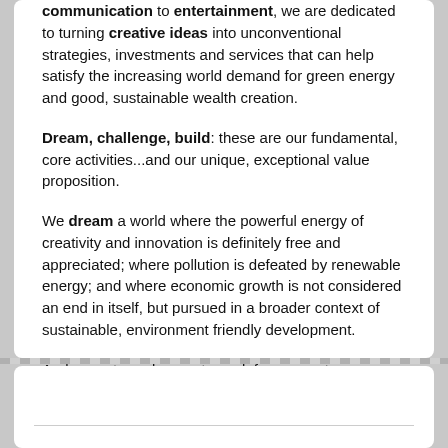communication to entertainment, we are dedicated to turning creative ideas into unconventional strategies, investments and services that can help satisfy the increasing world demand for green energy and good, sustainable wealth creation.
Dream, challenge, build: these are our fundamental, core activities...and our unique, exceptional value proposition.
We dream a world where the powerful energy of creativity and innovation is definitely free and appreciated; where pollution is defeated by renewable energy; and where economic growth is not considered an end in itself, but pursued in a broader context of sustainable, environment friendly development.
And we put our dreams to work for our customers, people and communities by challenging the conventional approaches to business to build new uncontested market spaces, innovative solutions and stakeholder value.